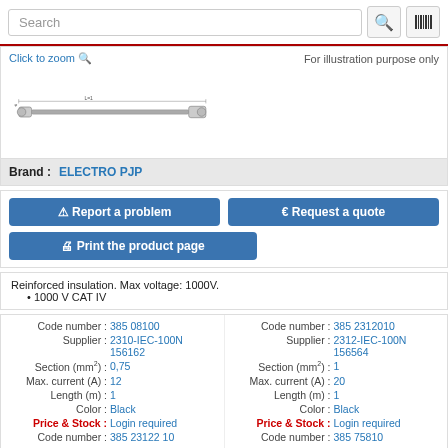Search
[Figure (engineering-diagram): Technical drawing of a cable/lead with connectors on both ends, showing dimensions including length and cross-section details. Label: For illustration purpose only]
Brand : ELECTRO PJP
Report a problem | Request a quote | Print the product page
Reinforced insulation. Max voltage: 1000V.
1000 V CAT IV
| Field | Value 1 | Value 2 |
| --- | --- | --- |
| Code number : | 385 08100 | 385 2312010 |
| Supplier : | 2310-IEC-100N 156162 | 2312-IEC-100N 156564 |
| Section (mm²) : | 0,75 | 1 |
| Max. current (A) : | 12 | 20 |
| Length (m) : | 1 | 1 |
| Color : | Black | Black |
| Price & Stock : | Login required | Login required |
| Code number : | 385 23122 10 | 385 75810 |